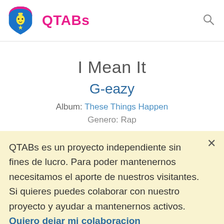QTABs
I Mean It
G-eazy
Album: These Things Happen
Genero: Rap
QTABs es un proyecto independiente sin fines de lucro. Para poder mantenernos necesitamos el aporte de nuestros visitantes. Si quieres puedes colaborar con nuestro proyecto y ayudar a mantenernos activos. Quiero dejar mi colaboracion